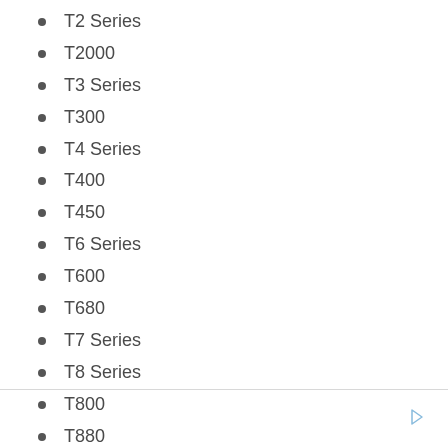T2 Series
T2000
T3 Series
T300
T4 Series
T400
T450
T6 Series
T600
T680
T7 Series
T8 Series
T800
T880
W9 Series
W900